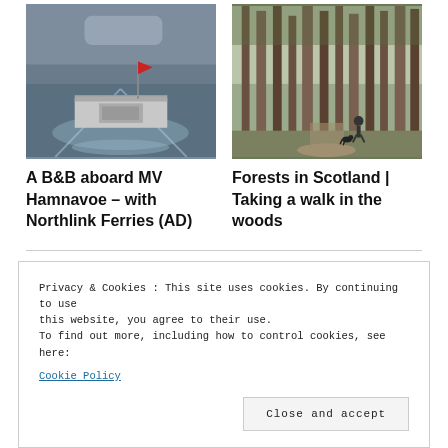[Figure (photo): View from rear of a ferry showing wake on water, with a red flag and grey sky]
A B&B aboard MV Hamnavoe – with Northlink Ferries (AD)
[Figure (photo): Forest path in Scotland with tall pine trees and a person walking a dog]
Forests in Scotland | Taking a walk in the woods
Privacy & Cookies: This site uses cookies. By continuing to use this website, you agree to their use.
To find out more, including how to control cookies, see here:
Cookie Policy
Close and accept